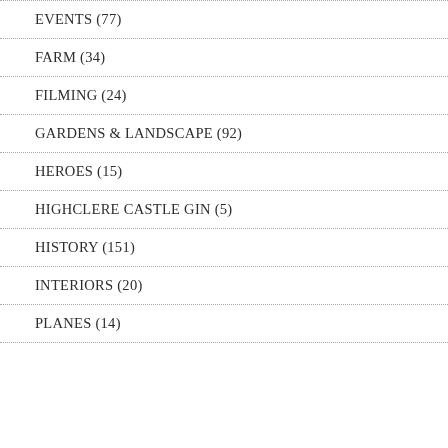EVENTS (77)
FARM (34)
FILMING (24)
GARDENS & LANDSCAPE (92)
HEROES (15)
HIGHCLERE CASTLE GIN (5)
HISTORY (151)
INTERIORS (20)
PLANES (14)